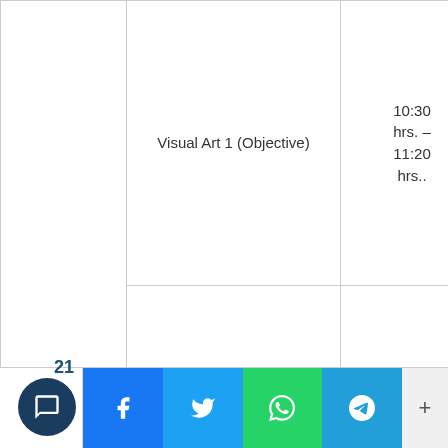| Date | Subject | Time |
| --- | --- | --- |
| Tuesday, 21st June, 2022 | Visual Art 1 (Objective) | 10:30 hrs. – 11:20 hrs.. |
|  | Agricultural Science 2 (Essay)
Agricultural Science 1 (Objective) | 13:00 hrs. – 15:10 hrs.
15:10 hrs. – 16:00 hrs. |
|  |  | 08:30 |
21
546 Shares